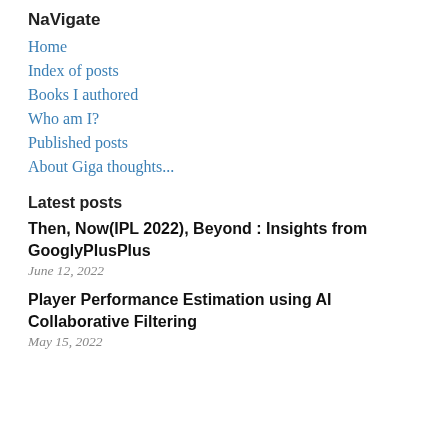NaVigate
Home
Index of posts
Books I authored
Who am I?
Published posts
About Giga thoughts...
Latest posts
Then, Now(IPL 2022), Beyond : Insights from GooglyPlusPlus
June 12, 2022
Player Performance Estimation using AI Collaborative Filtering
May 15, 2022